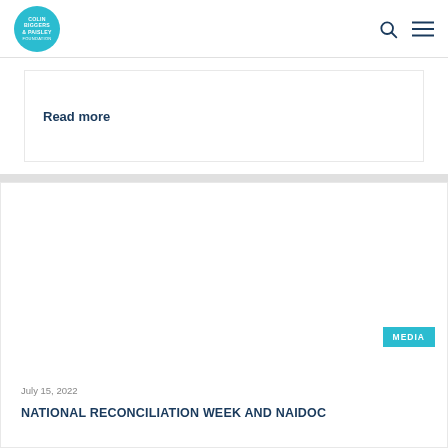Colin Biggers & Paisley Foundation
Read more
[Figure (other): Blank white image area for article card]
MEDIA
July 15, 2022
NATIONAL RECONCILIATION WEEK AND NAIDOC